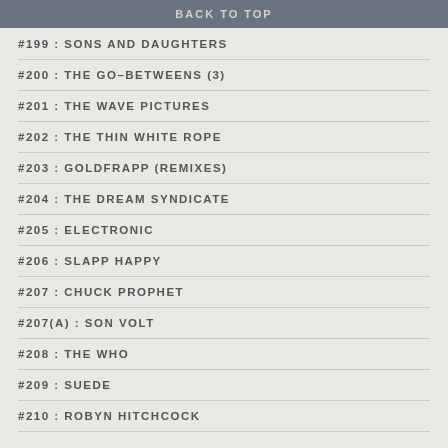BACK TO TOP
#199 : SONS AND DAUGHTERS
#200 : THE GO-BETWEENS (3)
#201 : THE WAVE PICTURES
#202 : THE THIN WHITE ROPE
#203 : GOLDFRAPP (remixes)
#204 : THE DREAM SYNDICATE
#205 : ELECTRONIC
#206 : SLAPP HAPPY
#207 : CHUCK PROPHET
#207(a) : SON VOLT
#208 : THE WHO
#209 : SUEDE
#210 : ROBYN HITCHCOCK